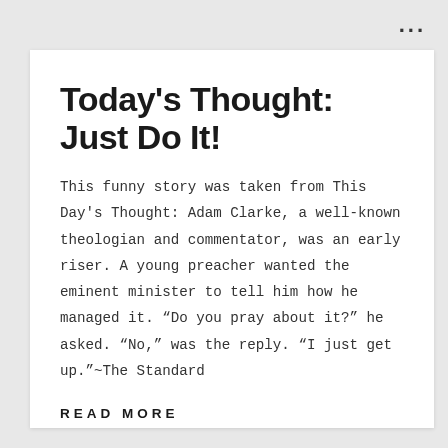Today's Thought: Just Do It!
This funny story was taken from This Day's Thought: Adam Clarke, a well-known theologian and commentator, was an early riser. A young preacher wanted the eminent minister to tell him how he managed it. “Do you pray about it?” he asked. “No,” was the reply. “I just get up.”~The Standard
READ MORE